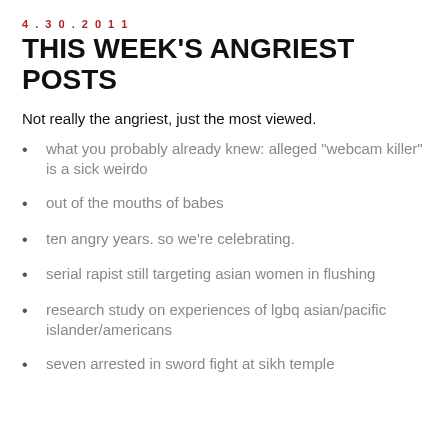4.30.2011
THIS WEEK'S ANGRIEST POSTS
Not really the angriest, just the most viewed.
what you probably already knew: alleged "webcam killer" is a sick weirdo
out of the mouths of babes
ten angry years. so we're celebrating.
serial rapist still targeting asian women in flushing
research study on experiences of lgbq asian/pacific islander/americans
seven arrested in sword fight at sikh temple